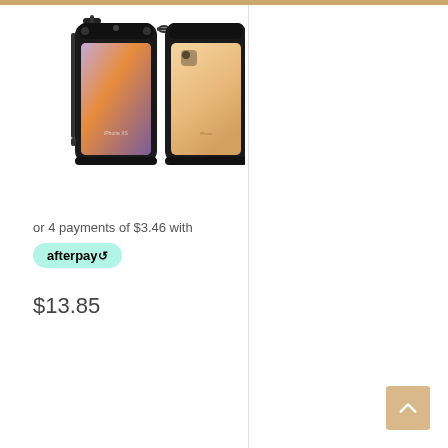[Figure (photo): Two views of a waterproof phone case/pouch for iPhone XS. Left view shows the front of a black waterproof pouch with an iPhone XS displaying a colorful galaxy wallpaper inside. Right view shows the back of the same pouch with a gold iPhone XS inside.]
or 4 payments of $3.46 with
[Figure (logo): Afterpay logo badge: rounded green pill shape with 'afterpay' text and a chain-link/infinity arrow icon]
$13.85